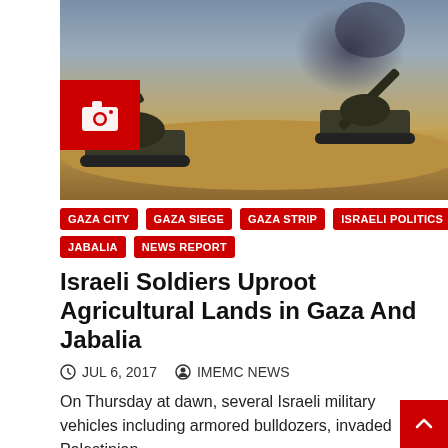[Figure (photo): Military artillery vehicles/tanks in a desert/field setting with smoke in the background. A red camera icon box is overlaid on the bottom-left of the image.]
GAZA CITY
GAZA SIEGE
GAZA STRIP
ISRAELI POLITICS
JABALIA
NEWS REPORT
Israeli Soldiers Uproot Agricultural Lands in Gaza And Jabalia
JUL 6, 2017  IMEMC NEWS
On Thursday at dawn, several Israeli military vehicles including armored bulldozers, invaded Palestinian